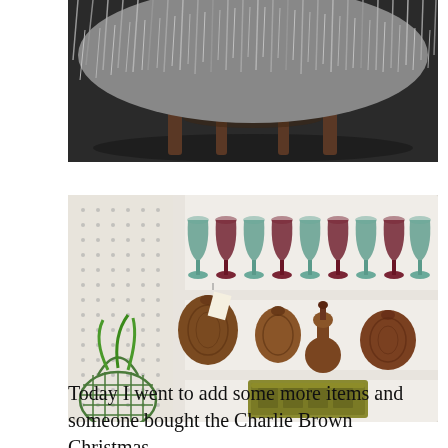[Figure (photo): Top portion of a fluffy fur-covered stool or ottoman with wooden legs on a dark floor, photographed from below/side angle.]
[Figure (photo): White shelving unit with colored wine glasses (teal and burgundy) on top shelf, carved wooden pottery/gourds on middle shelf, and a decorative tin box on bottom shelf. A green wire basket with plant is visible on the left beside a pegboard wall.]
Today I went to add some more items and someone bought the Charlie Brown Christmas